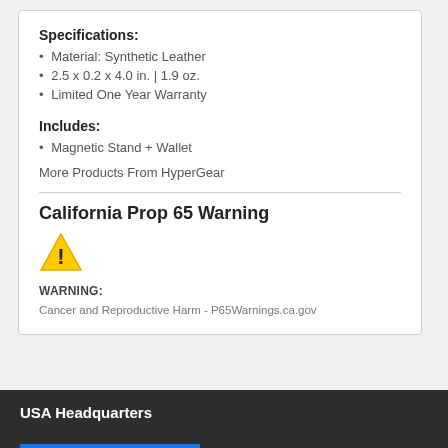Specifications:
Material: Synthetic Leather
2.5 x 0.2 x 4.0 in. | 1.9 oz.
Limited One Year Warranty
Includes:
Magnetic Stand + Wallet
More Products From HyperGear
California Prop 65 Warning
[Figure (other): Yellow triangle warning icon with exclamation mark]
WARNING:
Cancer and Reproductive Harm - P65Warnings.ca.gov
USA Headquarters